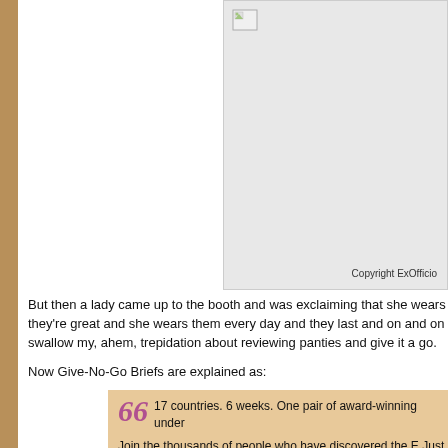[Figure (photo): Broken image placeholder with small icon in top-left corner. Gray background. Copyright ExOfficio text at bottom right.]
Copyright ExOfficio
But then a lady came up to the booth and was exclaiming that she wears they're great and she wears them every day and they last and on and on swallow my, ahem, trepidation about reviewing panties and give it a go.
Now Give-No-Go Briefs are explained as:
17 countries. 6 weeks. One pair of award-winning under

Join the thousands of people who have discovered the E Just toss your Give-N-Go's in the laundry or wash them i